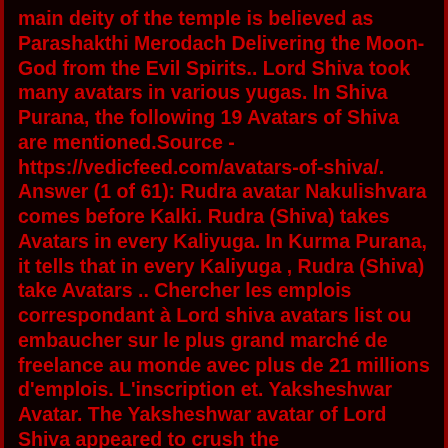main deity of the temple is believed as Parashakthi Merodach Delivering the Moon-God from the Evil Spirits.. Lord Shiva took many avatars in various yugas. In Shiva Purana, the following 19 Avatars of Shiva are mentioned.Source - https://vedicfeed.com/avatars-of-shiva/. Answer (1 of 61): Rudra avatar Nakulishvara comes before Kalki. Rudra (Shiva) takes Avatars in every Kaliyuga. In Kurma Purana, it tells that in every Kaliyuga , Rudra (Shiva) take Avatars .. Chercher les emplois correspondant à Lord shiva avatars list ou embaucher sur le plus grand marché de freelance au monde avec plus de 21 millions d'emplois. L'inscription et. Yaksheshwar Avatar. The Yaksheshwar avatar of Lord Shiva appeared to crush the pride/complacency of the Devas after they consumed Amrit, the divine nectar. He asked them .... There are at least eight different versions of the Shiva Sahasranama, devotional hymns listing many names of Shiva. The version appearing in Book 13 (Anuśāsanaparvan) of the Mahabharata provides one such list. Shiva also has Dasha-